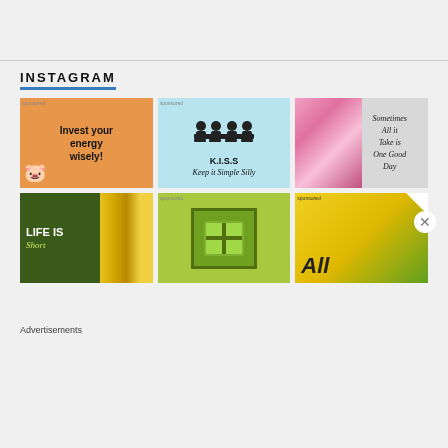INSTAGRAM
[Figure (illustration): Instagram grid showing 6 motivational posts. Top row: 1) Orange background with piggy bank illustration and text 'Invest your energy wisely!', 2) Light blue background with silhouette of people at meeting table and text 'K.I.S.S Keep it Simple Silly', 3) Floral pink background with cursive text 'Sometimes All it Take is One Good Day'. Bottom row: 4) Dark green and yellow striped background with text 'LIFE IS Short', 5) Green/yellow background with window illustration, 6) Yellow-green gradient with large italic 'All' text and white corner fold.]
Advertisements
[Figure (illustration): DuckDuckGo advertisement banner on orange/red background. Text: 'Search, browse, and email with more privacy.' with 'All in One Free App' button. Shows smartphone and DuckDuckGo logo.]